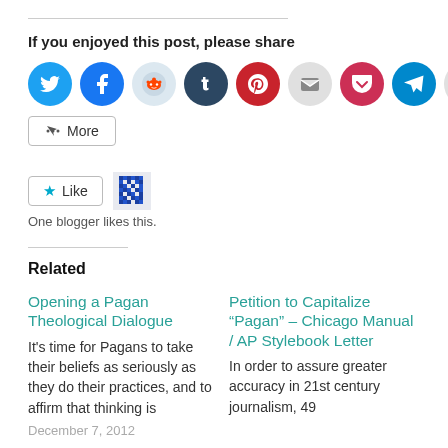If you enjoyed this post, please share
[Figure (infographic): Row of social sharing icon buttons: Twitter (blue), Facebook (blue), Reddit (light blue), Tumblr (dark navy), Pinterest (red), Email (gray), Pocket (red), Telegram (blue), Print (gray)]
[Figure (infographic): More button with share icon]
[Figure (infographic): Like button with star icon and pixel avatar. Text: One blogger likes this.]
Related
Opening a Pagan Theological Dialogue
It’s time for Pagans to take their beliefs as seriously as they do their practices, and to affirm that thinking is
December 7, 2012
Petition to Capitalize “Pagan” – Chicago Manual / AP Stylebook Letter
In order to assure greater accuracy in 21st century journalism, 49